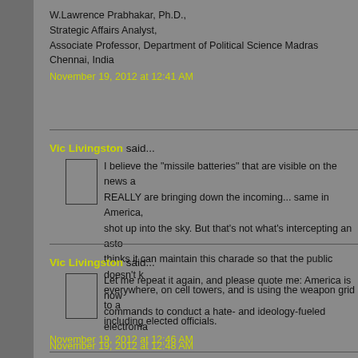W.Lawrence Prabhakar, Ph.D.,
Strategic Affairs Analyst,
Associate Professor, Department of Political Science Madras
Chennai, India
November 19, 2012 at 12:41 AM
Vic Livingston said...
I believe the "missile batteries" that are visible on the news a... REALLY are bringing down the incoming... same in America, shot up into the sky. But that's not what's intercepting an asto... thinks it can maintain this charade so that the public doesn't k... everywhere, on cell towers, and is using the weapon grid to a... including elected officials.
November 19, 2012 at 12:46 AM
Vic Livingston said...
Let me repeat it again, and please quote me: America is now commands to conduct a hate- and ideology-fueled electroma...
November 19, 2012 at 12:48 AM